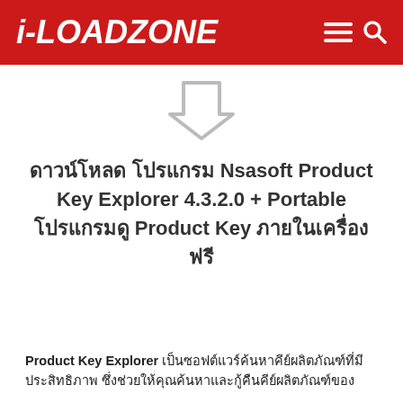i-LOADZONE
[Figure (illustration): Gray downward-pointing arrow outline icon on white background]
ดาวน์โหลด โปรแกรม Nsasoft Product Key Explorer 4.3.2.0 + Portable โปรแกรมดู Product Key ภายในเครื่อง ฟรี
Product Key Explorer เป็นซอฟต์แวร์ค้นหาคีย์ผลิตภัณฑ์ที่มีประสิทธิภาพ ซึ่งช่วยให้คุณค้นหาและกู้คืนคีย์ผลิตภัณฑ์ของ